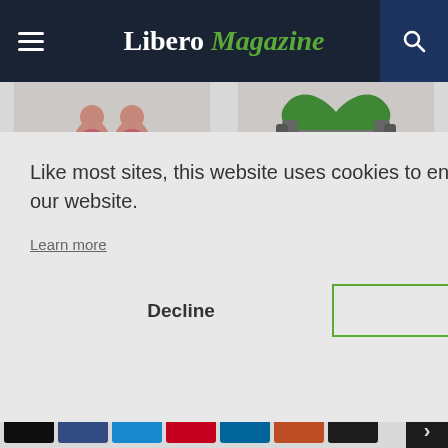Libero Magazine
[Figure (illustration): Article card image left: illustration of people with eating disorder]
EATING DISORDERS
PMS and Eating Disorder Recovery
[Figure (illustration): Article card image right: illustration of exercise/dumbbell with green heart]
EATING DISORDERS
Exercise in Eating Disorder Recovery: a Personal
Like most sites, this website uses cookies to ensure you get the best experience on our website.
Learn more
Decline
Accept